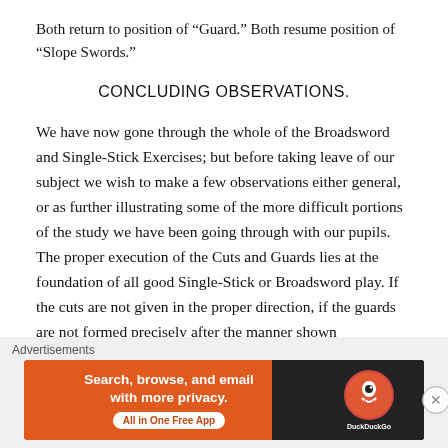Both return to position of “Guard.” Both resume position of “Slope Swords.”
CONCLUDING OBSERVATIONS.
We have now gone through the whole of the Broadsword and Single-Stick Exercises; but before taking leave of our subject we wish to make a few observations either general, or as further illustrating some of the more difficult portions of the study we have been going through with our pupils. The proper execution of the Cuts and Guards lies at the foundation of all good Single-Stick or Broadsword play. If the cuts are not given in the proper direction, if the guards are not formed precisely after the manner shown
Advertisements
[Figure (screenshot): DuckDuckGo advertisement banner: orange and dark background with text 'Search, browse, and email with more privacy. All in One Free App' and DuckDuckGo logo on right side.]